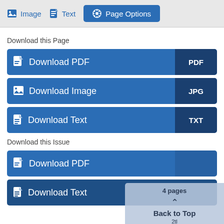Image | Text | Page Options
Download this Page
Download PDF PDF
Download Image JPG
Download Text TXT
Download this Issue
Download PDF 4 pages
Download Text 2tl
Back to Top